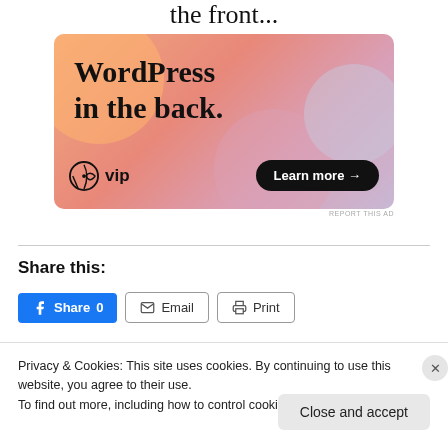[Figure (screenshot): WordPress VIP advertisement banner with orange/pink gradient background showing text 'the front...' above and 'WordPress in the back.' on the banner, with WordPress VIP logo and 'Learn more →' button]
REPORT THIS AD
Share this:
[Figure (screenshot): Share buttons row: blue Facebook Share 0 button, Email button, Print button]
Privacy & Cookies: This site uses cookies. By continuing to use this website, you agree to their use.
To find out more, including how to control cookies, see here: Cookie Policy